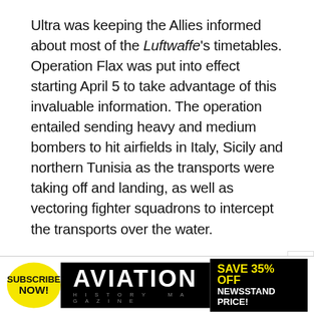Ultra was keeping the Allies informed about most of the Luftwaffe's timetables. Operation Flax was put into effect starting April 5 to take advantage of this invaluable information. The operation entailed sending heavy and medium bombers to hit airfields in Italy, Sicily and northern Tunisia as the transports were taking off and landing, as well as vectoring fighter squadrons to intercept the transports over the water.
The American fighters made the first gains with a sweep by Lockheed P-38 Lightnings on April 5 that brought down 11 Ju-52s. From then on, the score of downed transports steadily increased, peaking on April 18 with the famous Palm Sunday massacre, in which newer model P-40 Warhawks of the
[Figure (other): Advertisement banner for Aviation History magazine. Yellow circle with 'SUBSCRIBE NOW!' text on left. Black center with 'AVIATION' logo in large white text and 'HISTORY MAGAZINE' subtitle. Right section on black with yellow text 'SAVE 35% OFF' and white text 'NEWSSTAND PRICE!'.]